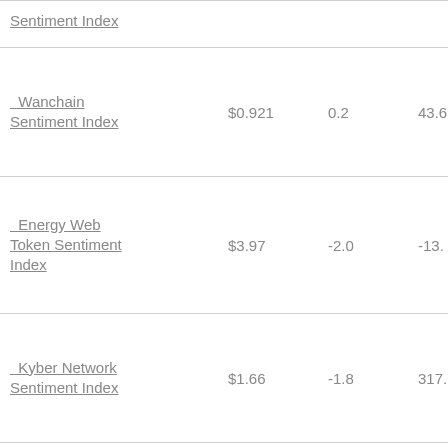| Name | Price | Change | Value |
| --- | --- | --- | --- |
| Sentiment Index (partial) |  |  |  |
| Wanchain Sentiment Index | $0.921 | 0.2 | 43.6 |
| Energy Web Token Sentiment Index | $3.97 | -2.0 | -13. |
| Kyber Network Sentiment Index | $1.66 | -1.8 | 317. |
| Polymath Sentiment Index | $0.187 | -1.2 | -5.9 |